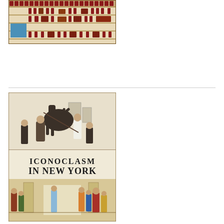[Figure (illustration): Ancient Egyptian or Aztec-style illustrated manuscript/frieze with red and blue figures on a grid background]
Liza Oliver
[Figure (illustration): Book cover for 'Iconoclasm in New York: Revolution to Reenactment' by Wendy Bellion, featuring a black and white engraving of horses and figures in conflict at the top, and a colored illustration of figures at the bottom]